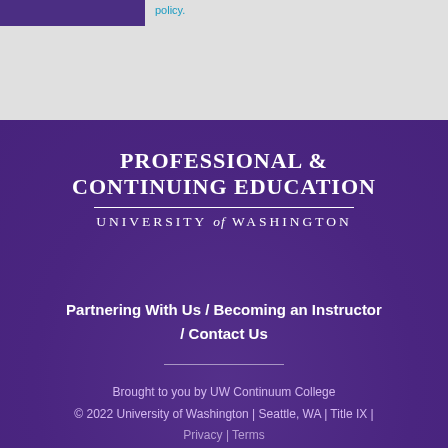[Figure (logo): Purple rectangular logo/banner bar at top left]
policy.
[Figure (logo): Professional & Continuing Education, University of Washington logo on purple background]
Partnering With Us / Becoming an Instructor / Contact Us
Brought to you by UW Continuum College © 2022 University of Washington | Seattle, WA | Title IX | Privacy | Terms